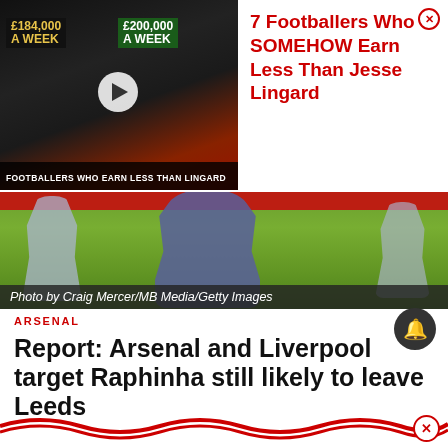[Figure (screenshot): Advertisement thumbnail showing two footballers with salary tags: £184,000 A WEEK and £200,000 A WEEK, with text overlay FOOTBALLERS WHO EARN LESS THAN LINGARD]
7 Footballers Who SOMEHOW Earn Less Than Jesse Lingard
[Figure (photo): Football match photo showing players in blue/grey away kit on a grass pitch with red advertising boards in the background. Photo by Craig Mercer/MB Media/Getty Images]
Photo by Craig Mercer/MB Media/Getty Images
ARSENAL
Report: Arsenal and Liverpool target Raphinha still likely to leave Leeds